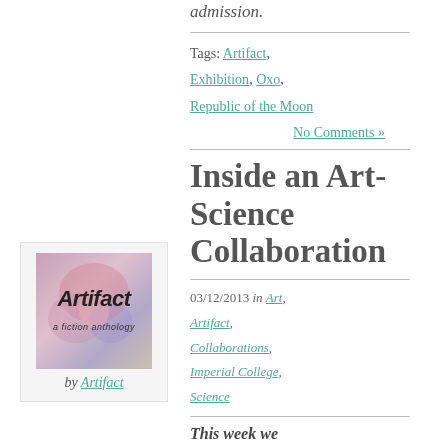admission.
Tags: Artifact, Exhibition, Oxo, Republic of the Moon
No Comments »
[Figure (illustration): Book cover thumbnail for 'Artifact' with abstract pink/purple imagery, labeled 'by Artifact' below]
Inside an Art-Science Collaboration
03/12/2013 in Art, Artifact, Collaborations, Imperial College, Science
This week we